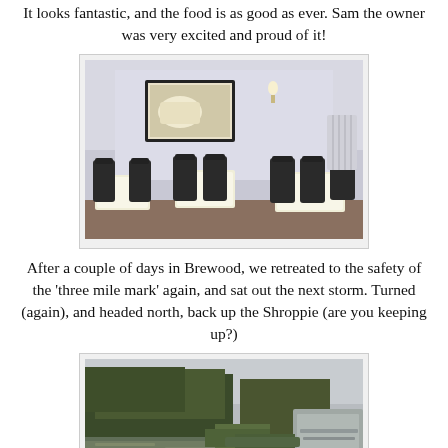It looks fantastic, and the food is as good as ever. Sam the owner was very excited and proud of it!
[Figure (photo): Interior of a restaurant dining room with dark chairs, white tablecloths, and a framed picture of a white tiger on the wall.]
After a couple of days in Brewood, we retreated to the safety of the 'three mile mark' again, and sat out the next storm. Turned (again), and headed north, back up the Shroppie (are you keeping up?)
[Figure (photo): A canal waterway scene with dense trees and vegetation on the banks, viewed from the side of a boat on a grey overcast day.]